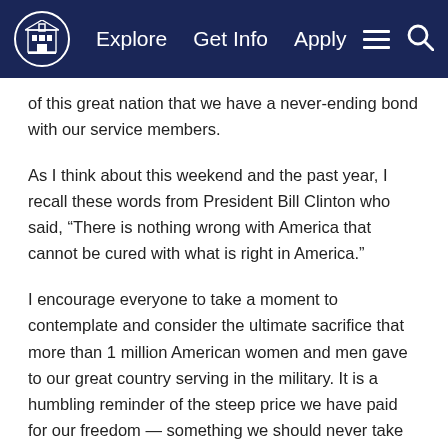Explore  Get Info  Apply
of this great nation that we have a never-ending bond with our service members.
As I think about this weekend and the past year, I recall these words from President Bill Clinton who said, “There is nothing wrong with America that cannot be cured with what is right in America.”
I encourage everyone to take a moment to contemplate and consider the ultimate sacrifice that more than 1 million American women and men gave to our great country serving in the military. It is a humbling reminder of the steep price we have paid for our freedom — something we should never take for granted.